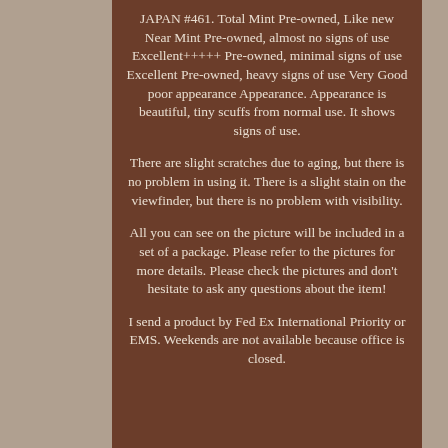JAPAN #461. Total Mint Pre-owned, Like new Near Mint Pre-owned, almost no signs of use Excellent+++++ Pre-owned, minimal signs of use Excellent Pre-owned, heavy signs of use Very Good poor appearance Appearance. Appearance is beautiful, tiny scuffs from normal use. It shows signs of use.
There are slight scratches due to aging, but there is no problem in using it. There is a slight stain on the viewfinder, but there is no problem with visibility.
All you can see on the picture will be included in a set of a package. Please refer to the pictures for more details. Please check the pictures and don't hesitate to ask any questions about the item!
I send a product by Fed Ex International Priority or EMS. Weekends are not available because office is closed.